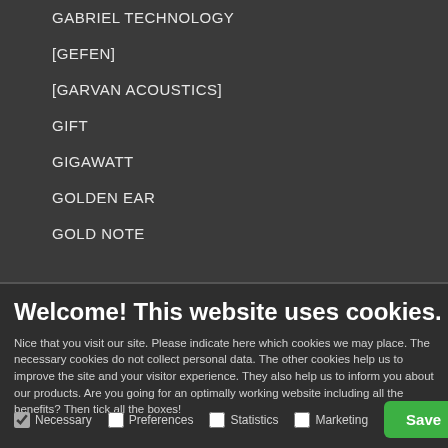GABRIEL TECHNOLOGY
[GEFEN]
[GARVAN ACOUSTICS]
GIFT
GIGAWATT
GOLDEN EAR
GOLD NOTE
Welcome! This website uses cookies.
Nice that you visit our site. Please indicate here which cookies we may place. The necessary cookies do not collect personal data. The other cookies help us to improve the site and your visitor experience. They also help us to inform you about our products. Are you going for an optimally working website including all the benefits? Then tick all the boxes!
Necessary  Preferences  Statistics  Marketing  Save